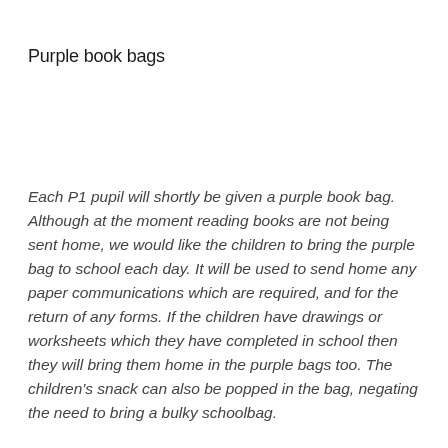Purple book bags
Each P1 pupil will shortly be given a purple book bag. Although at the moment reading books are not being sent home, we would like the children to bring the purple bag to school each day. It will be used to send home any paper communications which are required, and for the return of any forms. If the children have drawings or worksheets which they have completed in school then they will bring them home in the purple bags too. The children's snack can also be popped in the bag, negating the need to bring a bulky schoolbag.